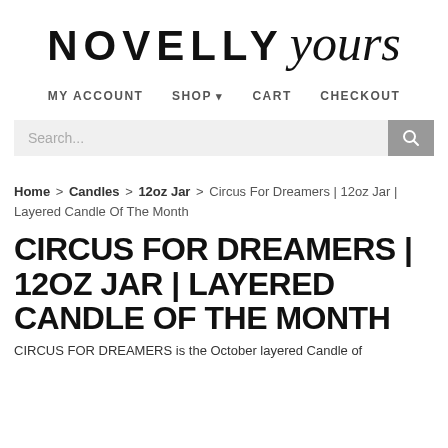[Figure (logo): Novelty Yours logo — 'NOVELTY' in bold uppercase sans-serif and 'yours' in italic script]
MY ACCOUNT   SHOP ▾   CART   CHECKOUT
Search...
Home > Candles > 12oz Jar > Circus For Dreamers | 12oz Jar | Layered Candle Of The Month
CIRCUS FOR DREAMERS | 12OZ JAR | LAYERED CANDLE OF THE MONTH
CIRCUS FOR DREAMERS is the October layered Candle of